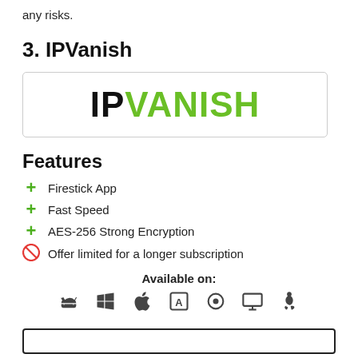any risks.
3. IPVanish
[Figure (logo): IPVanish logo: 'IP' in black bold, 'VANISH' in green bold, inside a rounded rectangle border]
Features
+ Firestick App
+ Fast Speed
+ AES-256 Strong Encryption
🚫 Offer limited for a longer subscription
Available on:
[Figure (infographic): Row of platform icons: Android, Windows, Apple, App Store, Firefox, Monitor/TV, Linux]